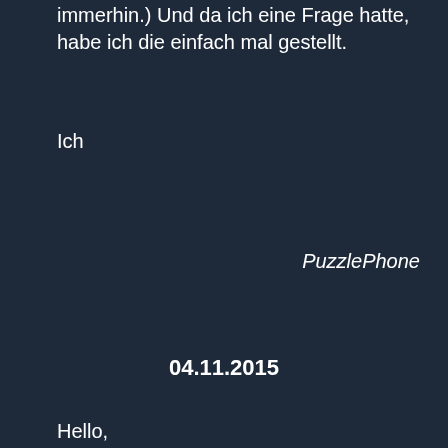immerhin.) Und da ich eine Frage hatte, habe ich die einfach mal gestellt.
Ich
PuzzlePhone
04.11.2015
Hello,
will there be a dualSIM Option or will the phone be simply single sim?
regards
05.11.2015
Dear Tim, Thankyou for your interest in the